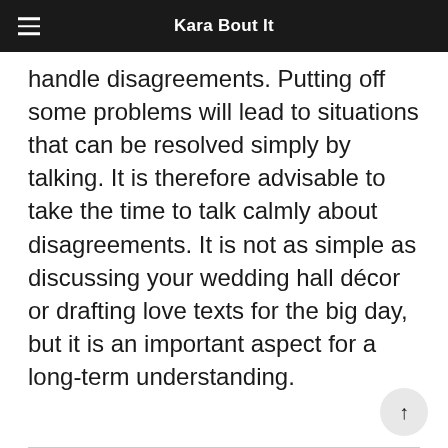Kara Bout It
handle disagreements. Putting off some problems will lead to situations that can be resolved simply by talking. It is therefore advisable to take the time to talk calmly about disagreements. It is not as simple as discussing your wedding hall décor or drafting love texts for the big day, but it is an important aspect for a long-term understanding.